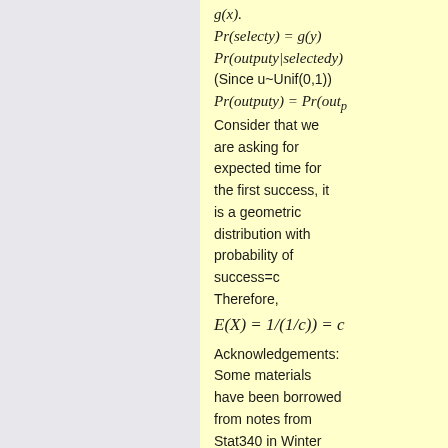(Since u~Unif(0,1))
Consider that we are asking for expected time for the first success, it is a geometric distribution with probability of success=c
Therefore,
Acknowledgements:
Some materials have been borrowed from notes from Stat340 in Winter